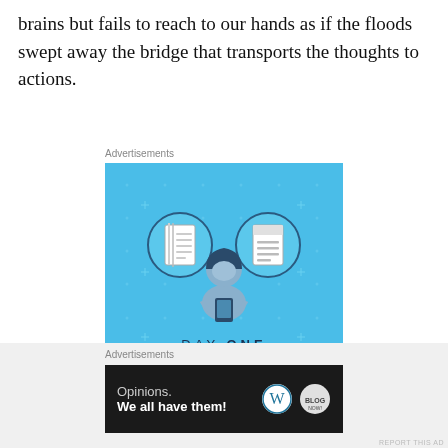brains but fails to reach to our hands as if the floods swept away the bridge that transports the thoughts to actions.
[Figure (infographic): Day One journaling app advertisement. Blue background with star/plus dot pattern. Illustration of a person holding a phone, flanked by a notebook icon on left and a checklist icon on right. Text: 'DAY ONE - The only journaling app you'll ever need.' Dark blue button: 'Get the app'.]
[Figure (infographic): Advertisement with dark background. WordPress logo and another logo. Text: 'Opinions. We all have them!']